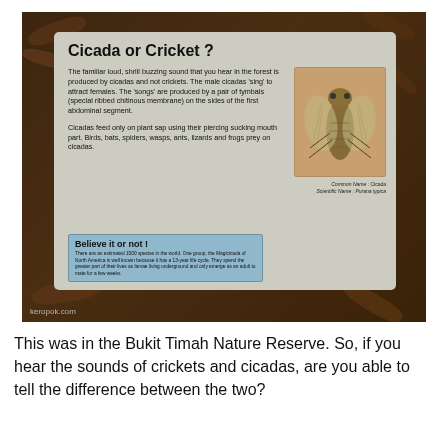[Figure (photo): Photograph of an informational nature reserve sign titled 'Cicada or Cricket?' with text about cicadas, an illustration of a cicada, and a 'Believe it or not!' box. Watermark 'keropok.com' visible at bottom left.]
This was in the Bukit Timah Nature Reserve. So, if you hear the sounds of crickets and cicadas, are you able to tell the difference between the two?